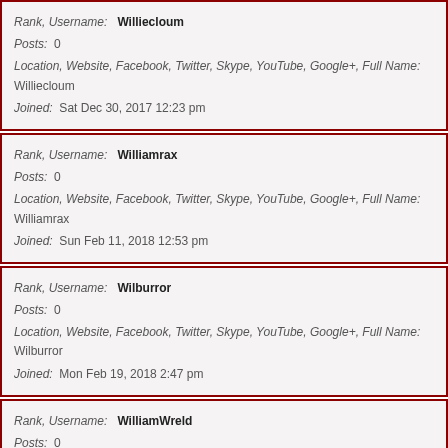Rank, Username: Williecloum
Posts: 0
Location, Website, Facebook, Twitter, Skype, YouTube, Google+, Full Name: Williecloum
Joined: Sat Dec 30, 2017 12:23 pm
Rank, Username: Williamrax
Posts: 0
Location, Website, Facebook, Twitter, Skype, YouTube, Google+, Full Name: Williamrax
Joined: Sun Feb 11, 2018 12:53 pm
Rank, Username: Wilburror
Posts: 0
Location, Website, Facebook, Twitter, Skype, YouTube, Google+, Full Name: Wilburror
Joined: Mon Feb 19, 2018 2:47 pm
Rank, Username: WilliamWreld
Posts: 0
Location, Website, Facebook, Twitter, Skype, YouTube, Google+, Full Name: WilliamWreld
Joined: Wed Feb 21, 2018 12:59 am
Rank, Username: watchesolution